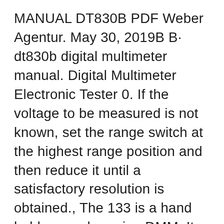MANUAL DT830B PDF Weber Agentur. May 30, 2019B B· dt830b digital multimeter manual. Digital Multimeter Electronic Tester 0. If the voltage to be measured is not known, set the range switch at the highest range position and then reduce it until a satisfactory resolution is obtained., The 133 is a hand held manual ranging DMM. It features extra large numerals on the LCD, and Data Hold for all functions and ranges. The 133 is an affordable choice offering measurements in all of the basic electrical functions. The 133 comes complete with the following: 133 Instrument Rubber Boot (133NB does not include boot) Test Lead Set.